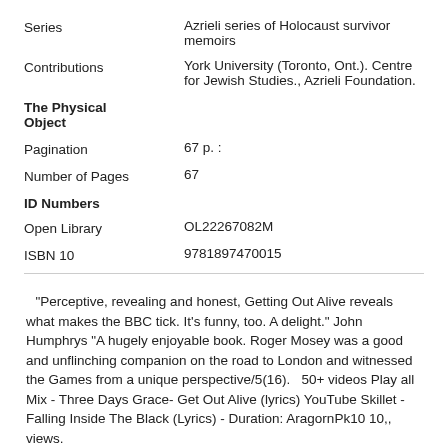Series	Azrieli series of Holocaust survivor memoirs
Contributions	York University (Toronto, Ont.). Centre for Jewish Studies., Azrieli Foundation.
The Physical Object
Pagination	67 p. :
Number of Pages	67
ID Numbers
Open Library	OL22267082M
ISBN 10	9781897470015
"Perceptive, revealing and honest, Getting Out Alive reveals what makes the BBC tick. It's funny, too. A delight." John Humphrys "A hugely enjoyable book. Roger Mosey was a good and unflinching companion on the road to London and witnessed the Games from a unique perspective/5(16).   50+ videos Play all Mix - Three Days Grace- Get Out Alive (lyrics) YouTube Skillet - Falling Inside The Black (Lyrics) - Duration: AragornPk10 10,, views.